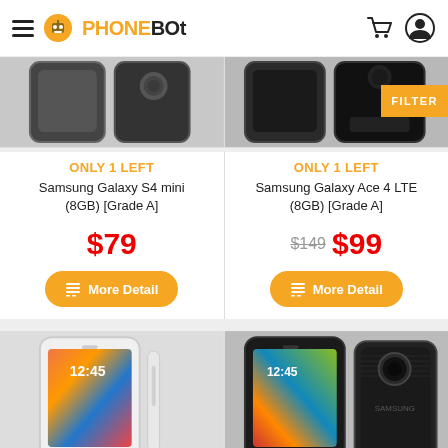PHONEBOT - navigation header with hamburger menu, logo, cart and user icons
[Figure (photo): Samsung Galaxy S4 mini (8GB) Grade A phone image showing back of device, partially cropped at top]
ONLY 1 LEFT
Samsung Galaxy S4 mini (8GB) [Grade A]
$79
More Detail
[Figure (photo): Samsung Galaxy Ace 4 LTE (8GB) Grade A phone image, partially cropped at top, with FILTER badge overlay]
ONLY 1 LEFT
Samsung Galaxy Ace 4 LTE (8GB) [Grade A]
$149 $99
More Detail
[Figure (photo): Samsung Galaxy S5 white front and back view showing colorful wallpaper on screen]
[Figure (photo): Samsung Galaxy S5 black/dark front and back view showing colorful wallpaper on screen]